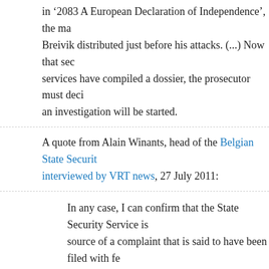in '2083 A European Declaration of Independence', the manifest Breivik distributed just before his attacks. (...) Now that security services have compiled a dossier, the prosecutor must decide whether an investigation will be started.
A quote from Alain Winants, head of the Belgian State Security Service, interviewed by VRT news, 27 July 2011:
In any case, I can confirm that the State Security Service is not the source of a complaint that is said to have been filed with federal prosecutors. That being said, it will of course be something that is included into our general investigation.
Lieve Pellens, spokesperson for the federal prosecutors, quoted on the website of Het Laatste Nieuws:
When we receive the report of the State Security Service, we will study it and based on that, we will decide whether it is necessary to open an investigation.